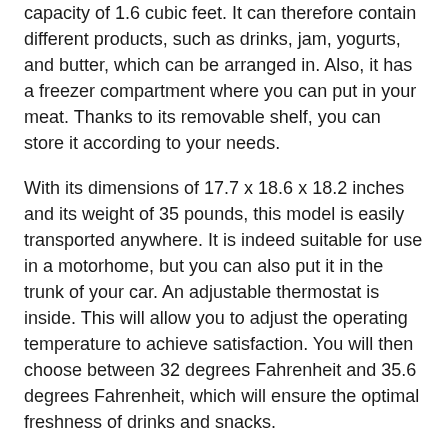capacity of 1.6 cubic feet. It can therefore contain different products, such as drinks, jam, yogurts, and butter, which can be arranged in. Also, it has a freezer compartment where you can put in your meat. Thanks to its removable shelf, you can store it according to your needs.
With its dimensions of 17.7 x 18.6 x 18.2 inches and its weight of 35 pounds, this model is easily transported anywhere. It is indeed suitable for use in a motorhome, but you can also put it in the trunk of your car. An adjustable thermostat is inside. This will allow you to adjust the operating temperature to achieve satisfaction. You will then choose between 32 degrees Fahrenheit and 35.6 degrees Fahrenheit, which will ensure the optimal freshness of drinks and snacks.
3. Best Single Door Refrigerator – Midea WHS-160RW1 4.4 Cubic Feet Reversible Compact Refrigerator and Freezer